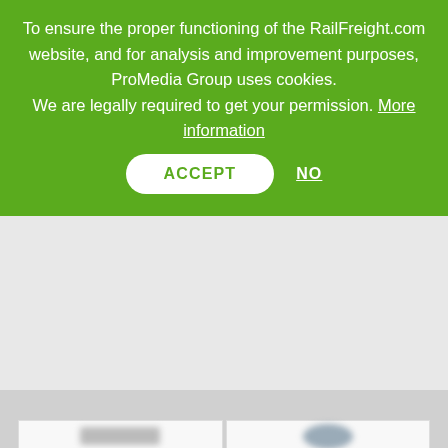To ensure the proper functioning of the RailFreight.com website, and for analysis and improvement purposes, ProMedia Group uses cookies. We are legally required to get your permission. More information
[Figure (screenshot): Cookie consent banner overlay on RailFreight.com website showing ACCEPT and NO buttons, with blurred company logo grid visible below]